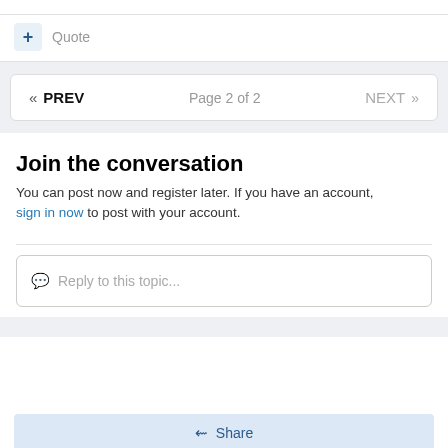+ Quote
« PREV   Page 2 of 2   NEXT »
Join the conversation
You can post now and register later. If you have an account, sign in now to post with your account.
Reply to this topic...
Share